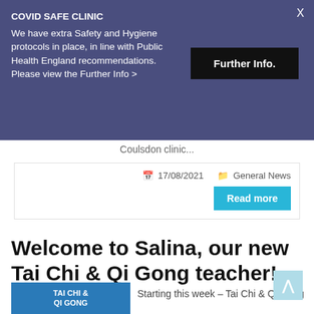COVID SAFE CLINIC
We have extra Safety and Hygiene protocols in place, in line with Public Health England recommendations. Please view the Further Info >
Further Info.
Coulsdon clinic...
17/08/2021  General News
Read more
Welcome to Salina, our new Tai Chi & Qi Gong teacher!
Starting this week – Tai Chi & Qi Gong